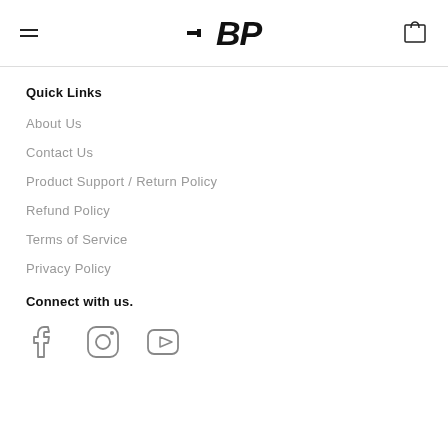BP logo with hamburger menu and cart icon
Quick Links
About Us
Contact Us
Product Support / Return Policy
Refund Policy
Terms of Service
Privacy Policy
Connect with us.
[Figure (logo): Social media icons: Facebook, Instagram, YouTube]